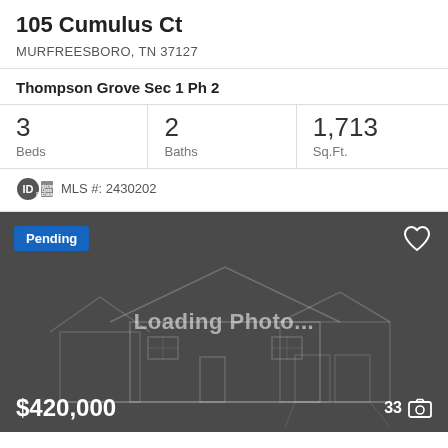105 Cumulus Ct
MURFREESBORO, TN 37127
Thompson Grove Sec 1 Ph 2
| Beds | Baths | Sq.Ft. |
| --- | --- | --- |
| 3 | 2 | 1,713 |
MLS #: 2430202
[Figure (screenshot): Property listing photo placeholder showing a house outline wireframe on dark gray background with 'Loading Photo...' text overlay, 'Pending' badge top-left, heart icon top-right, price $420,000 bottom-left, photo count 33 with camera icon bottom-right]